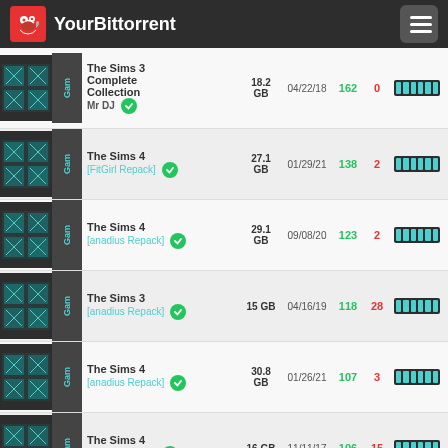YourBittorrent
| Thumb | Cat | Name | Size | Date | Seeds | Leeches | Bar |
| --- | --- | --- | --- | --- | --- | --- | --- |
| [img] | Gam | The Sims 3 Complete Collection
Mr DJ ✓ | 18.2 GB | 04/22/18 | 162 | 0 | [bar] |
| [img] | Gam | The Sims 4
[FitGirl Repack] ✓ | 27.1 GB | 01/29/21 | 138 | 2 | [bar] |
| [img] | Gam | The Sims 4
[anadius Repack] ✓ | 29.1 GB | 09/08/20 | 123 | 2 | [bar] |
| [img] | Gam | The Sims 3
[anadius Repack] ✓ | 15 GB | 04/16/19 | 118 | 28 | [bar] |
| [img] | Gam | The Sims 4
[anadius Repack] ✓ | 30.8 GB | 01/26/21 | 107 | 3 | [bar] |
| [img] | Gam | The Sims 4
[FitGirl Repack] ✓ | 16 GB | 11/11/17 | 106 | 15 | [bar] |